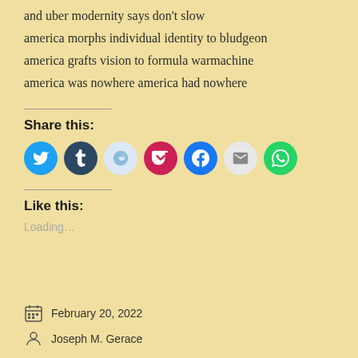and uber modernity says don't slow
america morphs individual identity to bludgeon
america grafts vision to formula warmachine
america was nowhere america had nowhere
Share this:
[Figure (infographic): Social share buttons: Twitter, Tumblr, Reddit, Pocket, Facebook, Email, WhatsApp]
Like this:
Loading...
February 20, 2022
Joseph M. Gerace